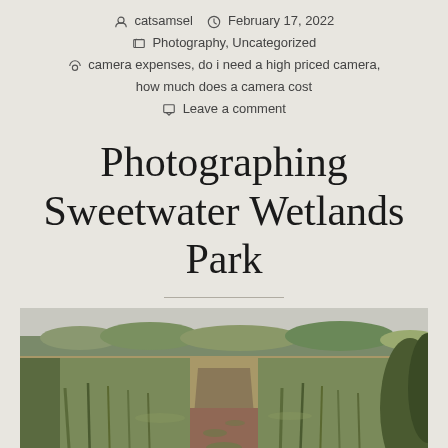catsamsel   February 17, 2022
Photography, Uncategorized
camera expenses, do i need a high priced camera, how much does a camera cost
Leave a comment
Photographing Sweetwater Wetlands Park
[Figure (photo): A path through wetlands with tall grasses on either side, trees visible in the background, overcast sky. Sweetwater Wetlands Park landscape photo.]